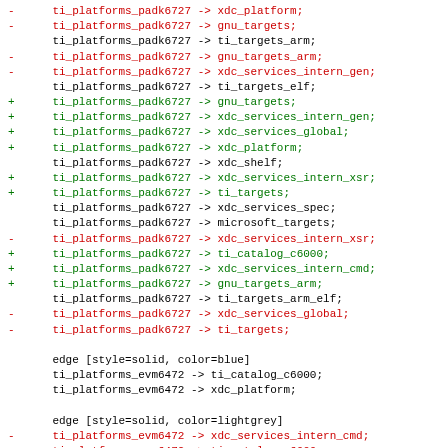Diff output showing added/removed dependency edges for ti_platforms_padk6727 and ti_platforms_evm6472 nodes in a graph definition file.